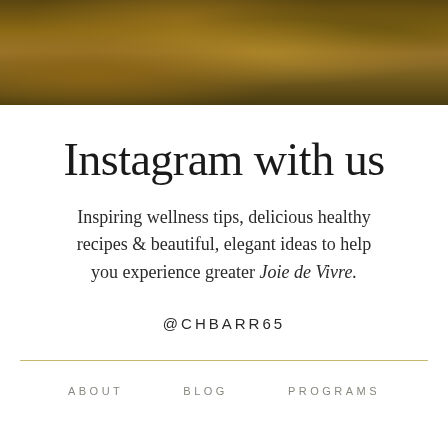[Figure (photo): Aerial or close-up photo of autumn-colored vegetation, mossy or grassy terrain with warm golden-brown tones]
Instagram with us
Inspiring wellness tips, delicious healthy recipes & beautiful, elegant ideas to help you experience greater Joie de Vivre.
@CHBARR65
ABOUT   BLOG   PROGRAMS